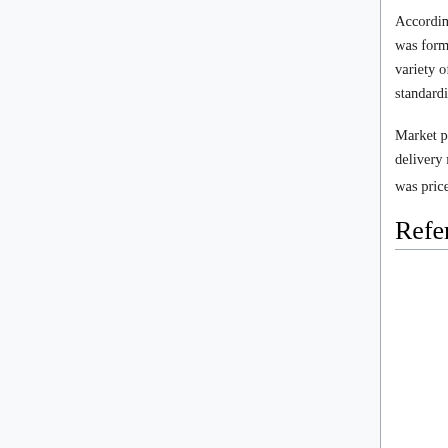According to CME Group's educational resources, in 1848 the Board of Trade of the City of Chicago was formed as a member-owned organization that offered a centralized location for cash trading of a variety of goods as well as trading of forward contracts. As business grew, it was decided that standardizing the contracts would streamline the trading and delivery processes.
Market participants were asked to trade contracts that were identical in terms of quantity, quality, delivery month and terms as established by the exchange. The only thing left for traders to negotiate was price and the number of contracts.[4]
References [edit]